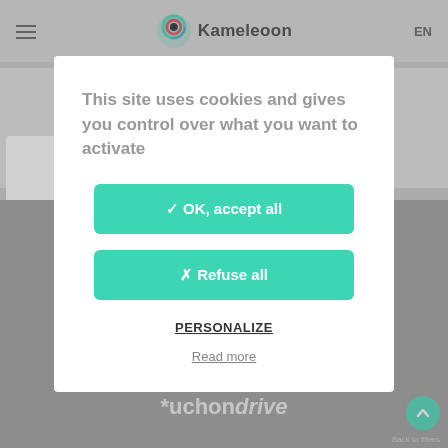[Figure (screenshot): Kameleoon website header with hamburger menu, Kameleoon logo (circular icon in green/blue/red), and EN language selector]
[Figure (screenshot): Cookie consent modal dialog with accept all and refuse all buttons, personalize link, and read more link. Background shows Auchan Drive website content.]
This site uses cookies and gives you control over what you want to activate
✓ OK, accept all
✗ Refuse all
PERSONALIZE
Read more